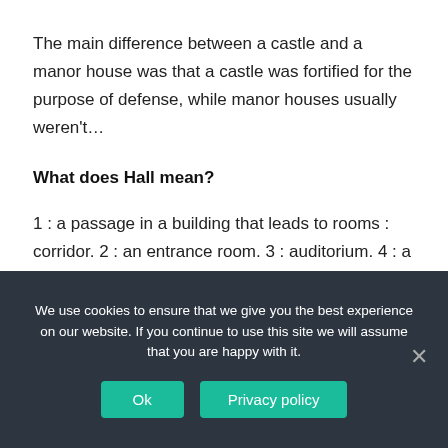The main difference between a castle and a manor house was that a castle was fortified for the purpose of defense, while manor houses usually weren't…
What does Hall mean?
1 : a passage in a building that leads to rooms : corridor. 2 : an entrance room. 3 : auditorium. 4 : a
We use cookies to ensure that we give you the best experience on our website. If you continue to use this site we will assume that you are happy with it.